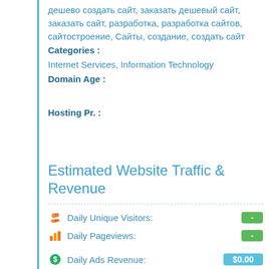дешево создать сайт, заказать дешевый сайт, заказать сайт, разработка, разработка сайтов, сайтостроение, Сайты, создание, создать сайт
Categories :
Internet Services, Information Technology
Domain Age :
Hosting Pr. :
Estimated Website Traffic & Revenue
Daily Unique Visitors: -
Daily Pageviews: -
Daily Ads Revenue: $0.00
Monthly Ads Revenue: